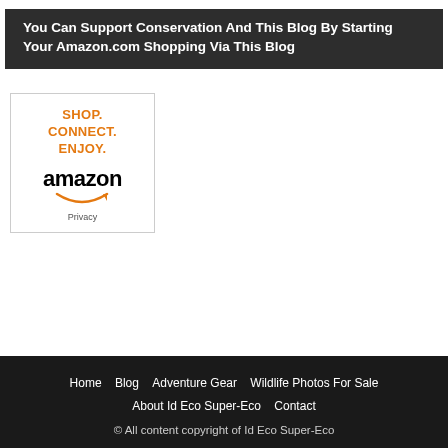You Can Support Conservation And This Blog By Starting Your Amazon.com Shopping Via This Blog
[Figure (screenshot): Amazon affiliate widget showing 'SHOP. CONNECT. ENJOY.' text in orange and the Amazon logo with smile, plus a Privacy link at the bottom.]
Home  Blog  Adventure Gear  Wildlife Photos For Sale  About Id Eco Super-Eco  Contact
© All content copyright of Id Eco Super-Eco